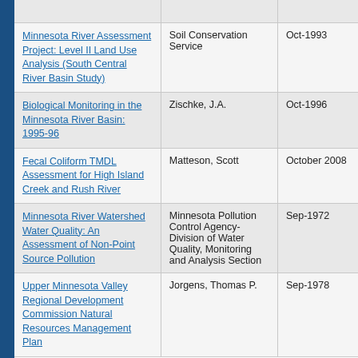| Title | Author | Date |
| --- | --- | --- |
| Minnesota River Assessment Project: Level II Land Use Analysis (South Central River Basin Study) | Soil Conservation Service | Oct-1993 |
| Biological Monitoring in the Minnesota River Basin: 1995-96 | Zischke, J.A. | Oct-1996 |
| Fecal Coliform TMDL Assessment for High Island Creek and Rush River | Matteson, Scott | October 2008 |
| Minnesota River Watershed Water Quality: An Assessment of Non-Point Source Pollution | Minnesota Pollution Control Agency- Division of Water Quality, Monitoring and Analysis Section | Sep-1972 |
| Upper Minnesota Valley Regional Development Commission Natural Resources Management Plan | Jorgens, Thomas P. | Sep-1978 |